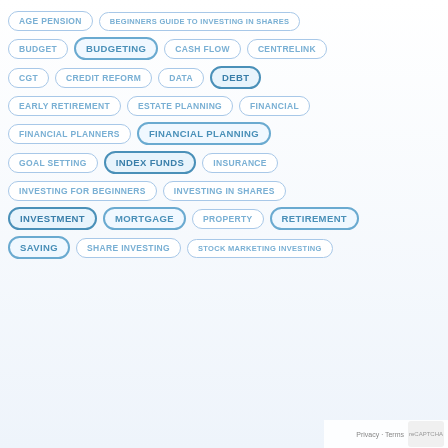AGE PENSION
BEGINNERS GUIDE TO INVESTING IN SHARES
BUDGET
BUDGETING
CASH FLOW
CENTRELINK
CGT
CREDIT REFORM
DATA
DEBT
EARLY RETIREMENT
ESTATE PLANNING
FINANCIAL
FINANCIAL PLANNERS
FINANCIAL PLANNING
GOAL SETTING
INDEX FUNDS
INSURANCE
INVESTING FOR BEGINNERS
INVESTING IN SHARES
INVESTMENT
MORTGAGE
PROPERTY
RETIREMENT
SAVING
SHARE INVESTING
STOCK MARKETING INVESTING
Privacy · Terms